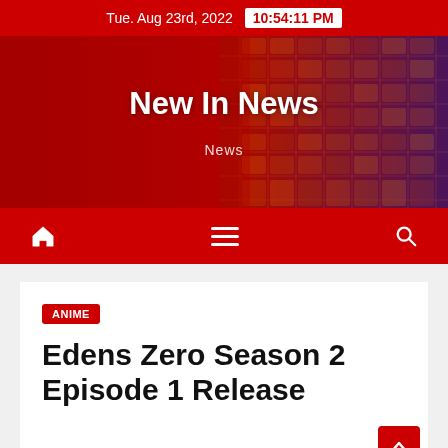Tue. Aug 23rd, 2022  10:54:11 PM
New In News
News
[Figure (screenshot): Navigation bar with home icon, hamburger menu, and search icon on red background]
ANIME
Edens Zero Season 2 Episode 1 Release